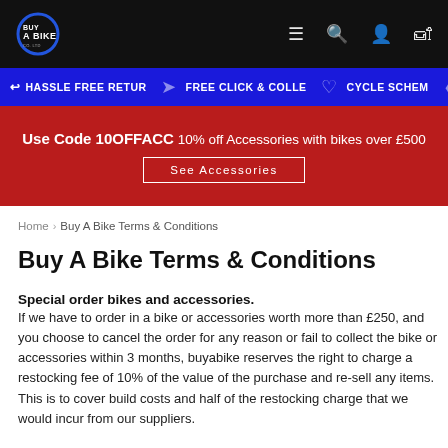[Figure (logo): BuyABike logo on black navigation bar with hamburger menu, search, account, and cart icons]
HASSLE FREE RETUR   FREE CLICK & COLLE   CYCLE SCHEM
Use Code 10OFFACC 10% off Accessories with bikes over £500   See Accessories
Home > Buy A Bike Terms & Conditions
Buy A Bike Terms & Conditions
Special order bikes and accessories.
If we have to order in a bike or accessories worth more than £250, and you choose to cancel the order for any reason or fail to collect the bike or accessories within 3 months, buyabike reserves the right to charge a restocking fee of 10% of the value of the purchase and re-sell any items. This is to cover build costs and half of the restocking charge that we would incur from our suppliers.